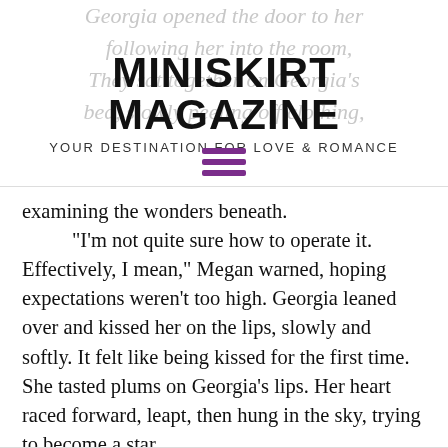MINISKIRT MAGAZINE
YOUR DESTINATION FOR LOVE & ROMANCE
[Figure (other): Purple hamburger menu icon (three horizontal lines)]
examining the wonders beneath.
“I’m not quite sure how to operate it. Effectively, I mean,” Megan warned, hoping expectations weren’t too high. Georgia leaned over and kissed her on the lips, slowly and softly. It felt like being kissed for the first time. She tasted plums on Georgia’s lips. Her heart raced forward, leapt, then hung in the sky, trying to become a star.
“Don’t worry,” Georgia said in a low voice. “We’ll figure it out together.”